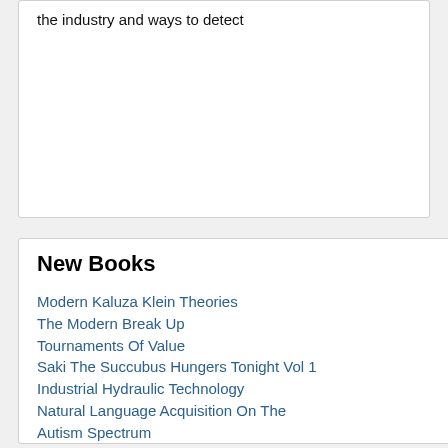the industry and ways to detect
New Books
Modern Kaluza Klein Theories
The Modern Break Up
Tournaments Of Value
Saki The Succubus Hungers Tonight Vol 1
Industrial Hydraulic Technology
Natural Language Acquisition On The Autism Spectrum
The Tale Of Despereaux
The Devil On The Doorstep
Married To The Devil S Son
All Roads Lead To Dubai
The Arrl Handbook For Radio